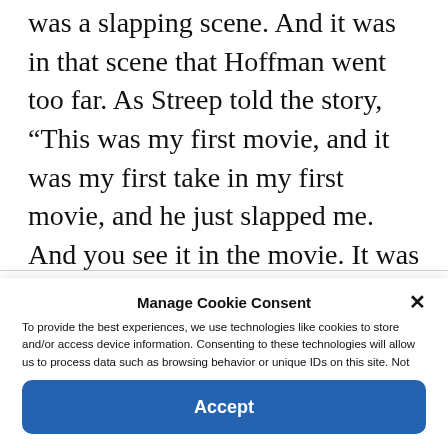was a slapping scene. And it was in that scene that Hoffman went too far. As Streep told the story, “This was my first movie, and it was my first take in my first movie, and he just slapped me. And you see it in the movie. It was overstepping.”
Yikes.
Manage Cookie Consent
To provide the best experiences, we use technologies like cookies to store and/or access device information. Consenting to these technologies will allow us to process data such as browsing behavior or unique IDs on this site. Not consenting or withdrawing consent, may adversely affect certain features and functions.
Accept